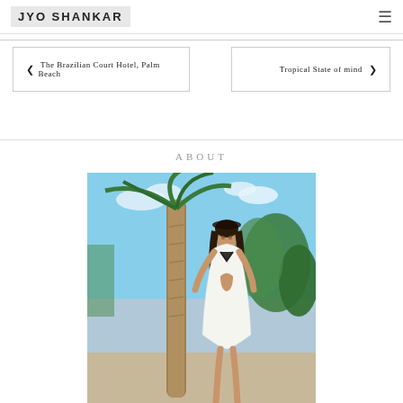JYO SHANKAR
❮ The Brazilian Court Hotel, Palm Beach
Tropical State of mind ❯
ABOUT
[Figure (photo): Woman in white crochet dress standing next to a palm tree with tropical greenery and blue sky in the background]